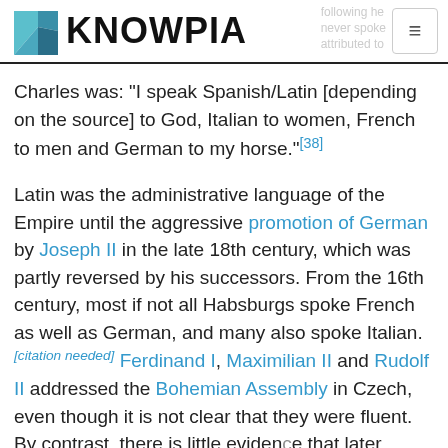KNOWPIA
Charles was: "I speak Spanish/Latin [depending on the source] to God, Italian to women, French to men and German to my horse."[38]
Latin was the administrative language of the Empire until the aggressive promotion of German by Joseph II in the late 18th century, which was partly reversed by his successors. From the 16th century, most if not all Habsburgs spoke French as well as German, and many also spoke Italian.[citation needed] Ferdinand I, Maximilian II and Rudolf II addressed the Bohemian Assembly in Czech, even though it is not clear that they were fluent. By contrast, there is little evidence that later Habsburgs in the 17th and 18th centuries spoke Czech, with the probable exception of